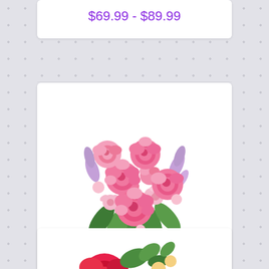$69.99 - $89.99
[Figure (photo): Pink rose and mixed flower bouquet in a glass vase (New Day Bouquet)]
New Day Bouquet
$54.99 - $74.99
[Figure (photo): Partial view of another flower arrangement at the bottom of the page]